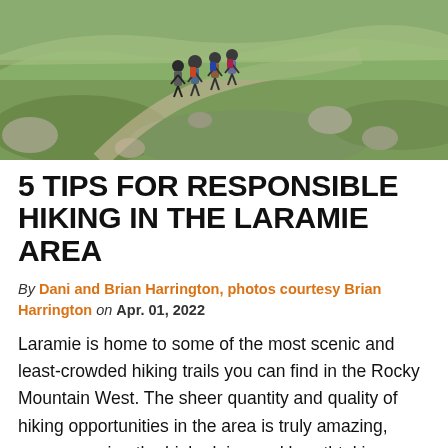[Figure (photo): Hikers walking up a rocky mountain trail in an alpine meadow, seen from behind, carrying backpacks. Rocky terrain with green grass and scattered boulders.]
5 TIPS FOR RESPONSIBLE HIKING IN THE LARAMIE AREA
By Dani and Brian Harrington, photos courtesy Brian Harrington on Apr. 01, 2022
Laramie is home to some of the most scenic and least-crowded hiking trails you can find in the Rocky Mountain West. The sheer quantity and quality of hiking opportunities in the area is truly amazing, encompassing the high alpine and breathtaking terrain of the Snowy Range Mountains, the...